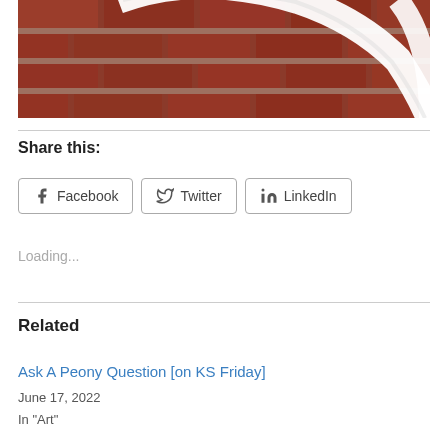[Figure (photo): Close-up photo of a white decorative frame or mirror against a red brick wall. The white frame has ornate curved edges visible at the top and right side of the image.]
Share this:
Facebook  Twitter  LinkedIn
Loading...
Related
Ask A Peony Question [on KS Friday]
June 17, 2022
In "Art"